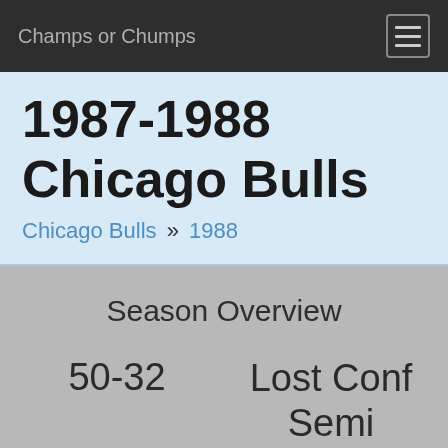Champs or Chumps
1987-1988 Chicago Bulls
Chicago Bulls » 1988
Season Overview
50-32
Lost Conf Semi
Record
Outcome